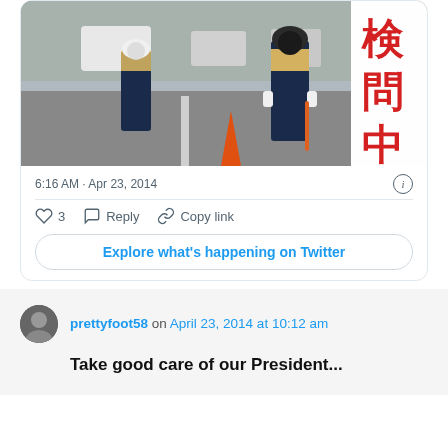[Figure (screenshot): Tweet card showing Japanese police officers in yellow vests directing traffic at a checkpoint, with a red Japanese sign reading 検問中 (checkpoint). Time stamp 6:16 AM · Apr 23, 2014. Actions: 3 likes, Reply, Copy link. Explore button.]
6:16 AM · Apr 23, 2014
3  Reply  Copy link
Explore what's happening on Twitter
prettyfoot58 on April 23, 2014 at 10:12 am
Take good care of our President...